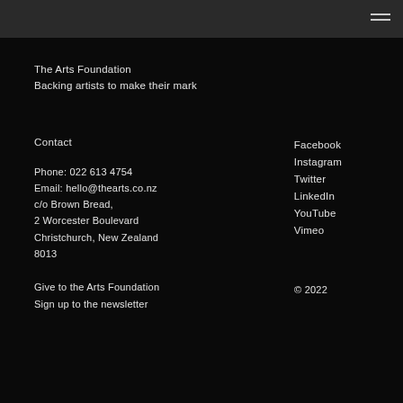The Arts Foundation
Backing artists to make their mark
Contact
Phone: 022 613 4754
Email: hello@thearts.co.nz
c/o Brown Bread,
2 Worcester Boulevard
Christchurch, New Zealand
8013
Facebook
Instagram
Twitter
LinkedIn
YouTube
Vimeo
Give to the Arts Foundation
Sign up to the newsletter
© 2022